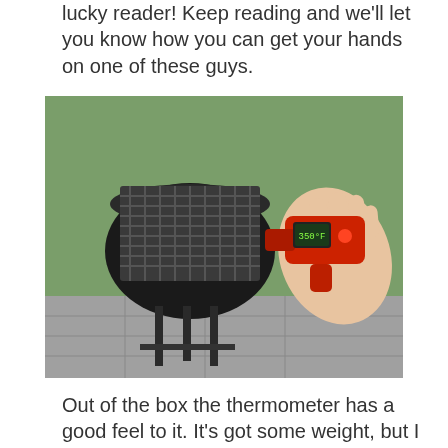lucky reader! Keep reading and we'll let you know how you can get your hands on one of these guys.
[Figure (photo): A hand holding a red infrared thermometer gun pointed at an open BBQ grill on a patio outdoors.]
Out of the box the thermometer has a good feel to it. It's got some weight, but I have to admit that the plastic casing makes me weary of it surviving a drop. A Wii style wrist band would have been a good addition for those with slippery finger syndrome. Overall, the thermometer performs well and provides fast and accurate readings. Keep in mind that this little guy take surface temperature readings as opposed to air temperature readings. Because of this, I would most recommend this tool for somebody that does more grilling than smoking.